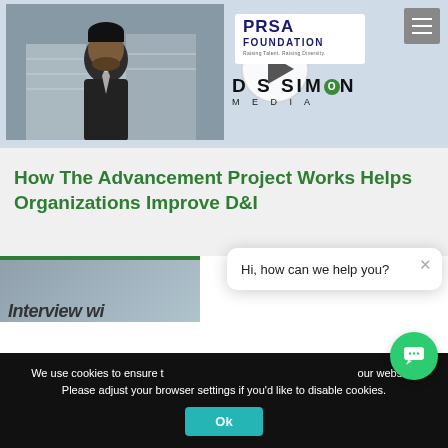[Figure (screenshot): Video thumbnail showing a man in a suit in front of a building, with a play button circle overlay, PRSA Foundation logo, and DS Simon Media logo. A hamburger menu button is in the top right.]
How The Advancement Project Works Helps Organizations Improve D&I
[Figure (screenshot): Partial view of a second video thumbnail with DS Simon Media watermark and italic text 'Interview wi...']
Hi, how can we help you?
We use cookies to ensure that we give you the best experience on our website. Please adjust your browser settings if you'd like to disable cookies.
Ok